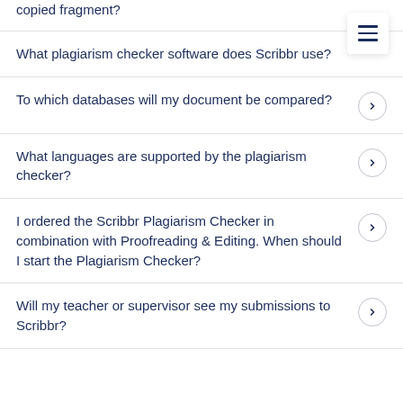copied fragment?
What plagiarism checker software does Scribbr use?
To which databases will my document be compared?
What languages are supported by the plagiarism checker?
I ordered the Scribbr Plagiarism Checker in combination with Proofreading & Editing. When should I start the Plagiarism Checker?
Will my teacher or supervisor see my submissions to Scribbr?